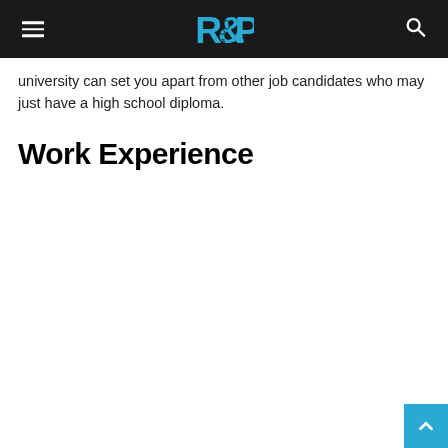R&P logo with hamburger menu and search icon
university can set you apart from other job candidates who may just have a high school diploma.
Work Experience